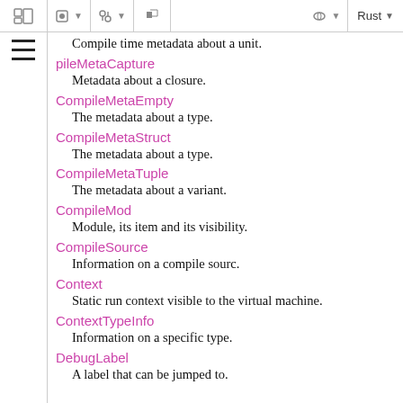Compile time metadata about a unit.
pileMetaCapture — Metadata about a closure.
CompileMetaEmpty — The metadata about a type.
CompileMetaStruct — The metadata about a type.
CompileMetaTuple — The metadata about a variant.
CompileMod — Module, its item and its visibility.
CompileSource — Information on a compile sourc.
Context — Static run context visible to the virtual machine.
ContextTypeInfo — Information on a specific type.
DebugLabel — A label that can be jumped to.